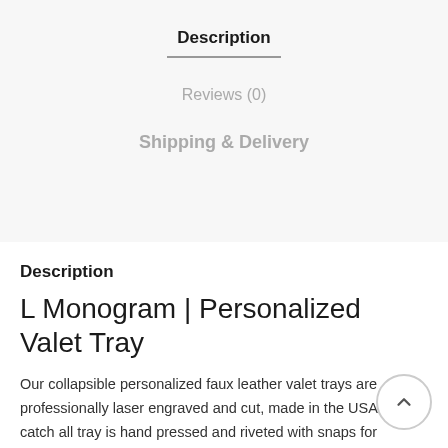Description
Reviews (0)
Shipping & Delivery
Description
L Monogram | Personalized Valet Tray
Our collapsible personalized faux leather valet trays are professionally laser engraved and cut, made in the USA. Each catch all tray is hand pressed and riveted with snaps for durability the trays snap open and closed for easy travel. These valet t are made with a cleanable pebbled faux leather in a color of yo